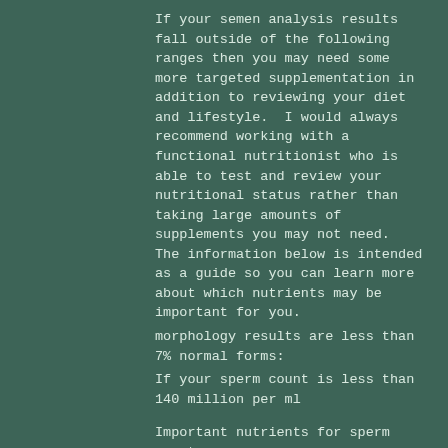If your semen analysis results fall outside of the following ranges then you may need some more targeted supplementation in addition to reviewing your diet and lifestyle.  I would always recommend working with a functional nutritionist who is able to test and review your nutritional status rather than taking large amounts of supplements you may not need.  The information below is intended as a guide so you can learn more about which nutrients may be important for you.
morphology results are less than 7% normal forms:
If your sperm count is less than 140 million per ml
Important nutrients for sperm count:
vitamin C up to 2g daily
Higher dose vitamin D if blood test